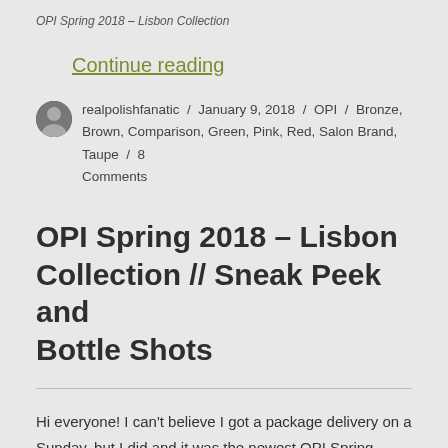OPI Spring 2018 – Lisbon Collection
Continue reading
realpolishfanatic / January 9, 2018 / OPI / Bronze, Brown, Comparison, Green, Pink, Red, Salon Brand, Taupe / 8 Comments
OPI Spring 2018 – Lisbon Collection // Sneak Peek and Bottle Shots
Hi everyone! I can't believe I got a package delivery on a Sunday, but I did and it was the newest OPI Spring